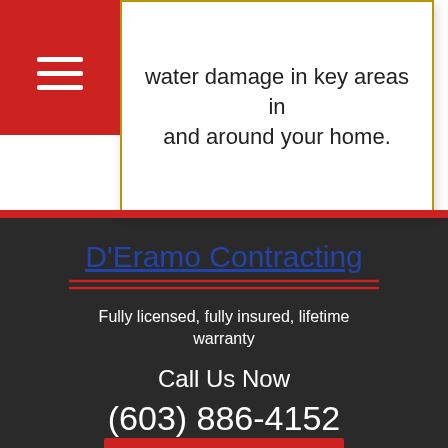water damage in key areas in and around your home.
D'Eramo Contracting
Fully licensed, fully insured, lifetime warranty
Call Us Now
(603) 886-4152